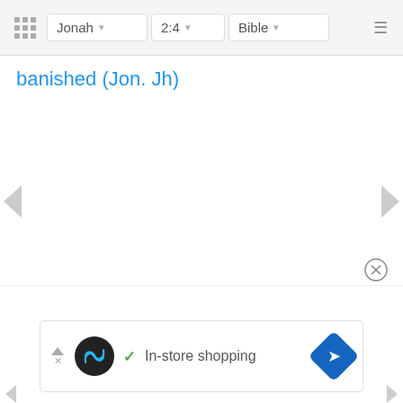Jonah  2:4  Bible
banished (Jon. Jh)
[Figure (screenshot): Advertisement banner showing a black circular logo with infinity symbol, a green checkmark, the text 'In-store shopping', and a blue diamond navigation arrow icon.]